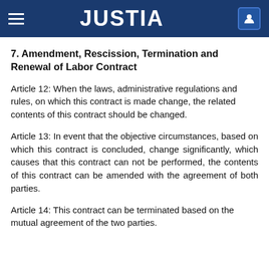JUSTIA
7. Amendment, Rescission, Termination and Renewal of Labor Contract
Article 12: When the laws, administrative regulations and rules, on which this contract is made change, the related contents of this contract should be changed.
Article 13: In event that the objective circumstances, based on which this contract is concluded, change significantly, which causes that this contract can not be performed, the contents of this contract can be amended with the agreement of both parties.
Article 14: This contract can be terminated based on the mutual agreement of the two parties.